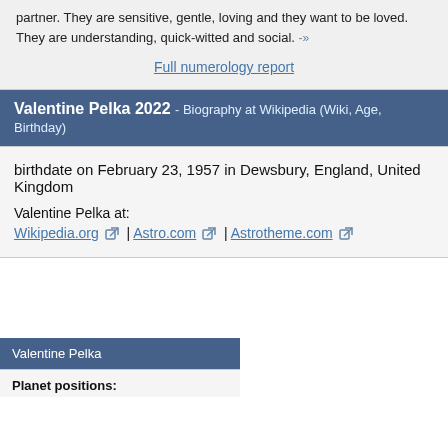partner. They are sensitive, gentle, loving and they want to be loved. They are understanding, quick-witted and social. -»
Full numerology report
Valentine Pelka 2022 - Biography at Wikipedia (Wiki, Age, Birthday)
birthdate on February 23, 1957 in Dewsbury, England, United Kingdom
Valentine Pelka at:
Wikipedia.org | Astro.com | Astrotheme.com
Valentine Pelka
Planet positions: